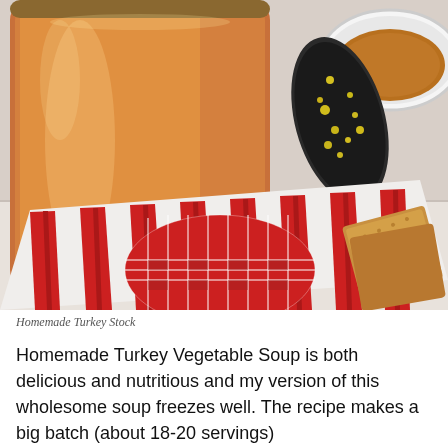[Figure (photo): A photo of homemade turkey stock in a large glass jar with an amber/orange liquid, accompanied by a red and white striped cloth napkin, a red gingham lid or plate, crackers, a cup of broth, and a decorative squash in the background on a white wooden surface.]
Homemade Turkey Stock
Homemade Turkey Vegetable Soup is both delicious and nutritious and my version of this wholesome soup freezes well. The recipe makes a big batch (about 18-20 servings)